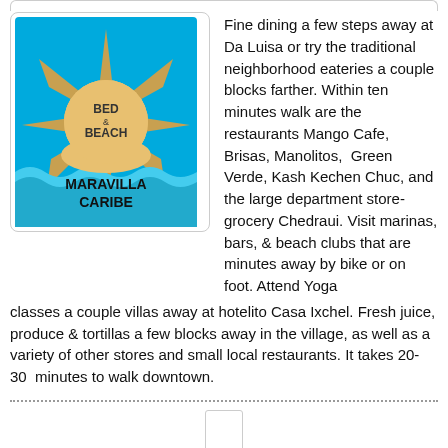[Figure (logo): Maravilla Caribe Bed & Beach logo: blue background with a sun and star shape, waves at bottom, text 'BED & BEACH' and 'MARAVILLA CARIBE']
Fine dining a few steps away at Da Luisa or try the traditional neighborhood eateries a couple blocks farther. Within ten minutes walk are the restaurants Mango Cafe, Brisas, Manolitos,  Green Verde, Kash Kechen Chuc, and the large department store-grocery Chedraui. Visit marinas, bars, & beach clubs that are minutes away by bike or on foot. Attend Yoga classes a couple villas away at hotelito Casa Ixchel. Fresh juice, produce & tortillas a few blocks away in the village, as well as a variety of other stores and small local restaurants. It takes 20-30  minutes to walk downtown.
August Events
Provided by MaraVilla Caribe & Isla Mujeres Daily News &